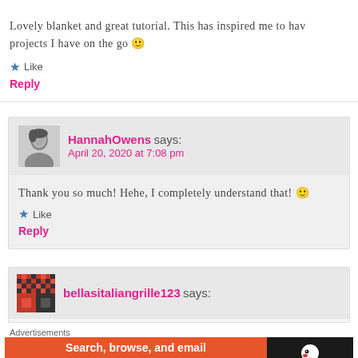Lovely blanket and great tutorial. This has inspired me to have projects I have on the go 🙂
Like
Reply
HannahOwens says: April 20, 2020 at 7:08 pm
Thank you so much! Hehe, I completely understand that! 🙂
Like
Reply
bellasitaliangrille123 says:
Advertisements
[Figure (screenshot): DuckDuckGo advertisement banner: 'Search, browse, and email with more privacy. All in One Free App' on orange background with DuckDuckGo duck logo on dark background]